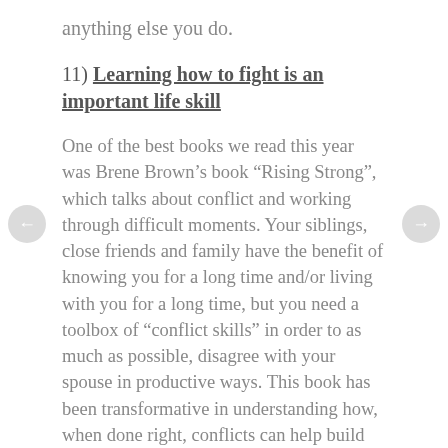anything else you do.
11) Learning how to fight is an important life skill
One of the best books we read this year was Brene Brown’s book “Rising Strong”, which talks about conflict and working through difficult moments. Your siblings, close friends and family have the benefit of knowing you for a long time and/or living with you for a long time, but you need a toolbox of “conflict skills” in order to as much as possible, disagree with your spouse in productive ways. This book has been transformative in understanding how, when done right, conflicts can help build strong relationships.